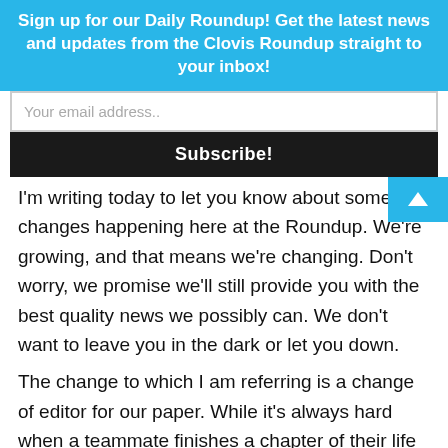Sign up for our Daily Roundup! Get the latest news and updates from the Clovis Roundup straight to your inbox!
Your email address..
Subscribe!
I'm writing today to let you know about some changes happening here at the Roundup. We're growing, and that means we're changing. Don't worry, we promise we'll still provide you with the best quality news we possibly can. We don't want to leave you in the dark or let you down.
The change to which I am referring is a change of editor for our paper. While it's always hard when a teammate finishes a chapter of their life and starts the next, it does happen, and we have to be willing to go with the flow. It just so happens that our editor of just over a year has decided to move on to her next adventure, and so we bid her goodbye and good luck.